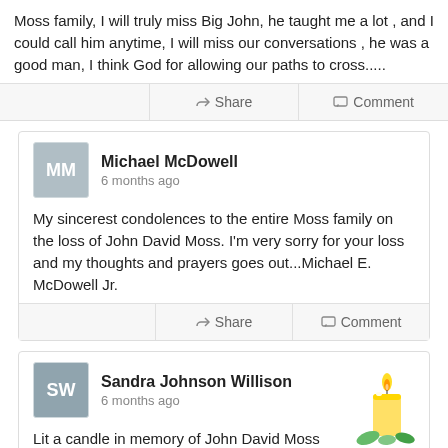Moss family, I will truly miss Big John, he taught me a lot, and I could call him anytime, I will miss our conversations, he was a good man, I think God for allowing our paths to cross.....
Share   Comment
Michael McDowell
6 months ago
My sincerest condolences to the entire Moss family on the loss of John David Moss. I'm very sorry for your loss and my thoughts and prayers goes out...Michael E. McDowell Jr.
Share   Comment
Sandra Johnson Willison
6 months ago
Lit a candle in memory of John David Moss
[Figure (illustration): Lit candle illustration with yellow flame and green leaves at base]